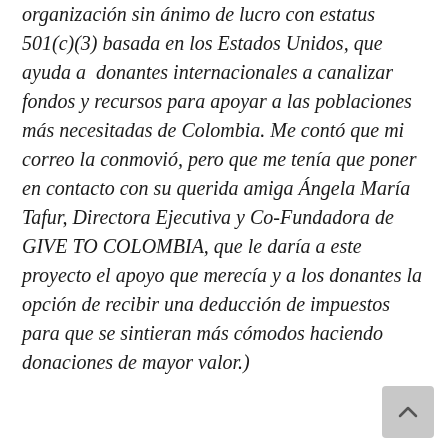organización sin ánimo de lucro con estatus 501(c)(3) basada en los Estados Unidos, que ayuda a donantes internacionales a canalizar fondos y recursos para apoyar a las poblaciones más necesitadas de Colombia. Me contó que mi correo la conmovió, pero que me tenía que poner en contacto con su querida amiga Ángela María Tafur, Directora Ejecutiva y Co-Fundadora de GIVE TO COLOMBIA, que le daría a este proyecto el apoyo que merecía y a los donantes la opción de recibir una deducción de impuestos para que se sintieran más cómodos haciendo donaciones de mayor valor.)